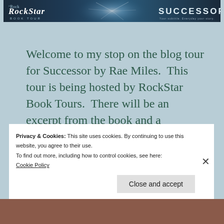[Figure (other): RockStar Book Tour banner with neural/glow graphic in center and SUCCESSOR text on right, dark blue background]
Welcome to my stop on the blog tour for Successor by Rae Miles.  This tour is being hosted by RockStar Book Tours.  There will be an excerpt from the book and a giveaway.
Privacy & Cookies: This site uses cookies. By continuing to use this website, you agree to their use.
To find out more, including how to control cookies, see here:
Cookie Policy

Close and accept